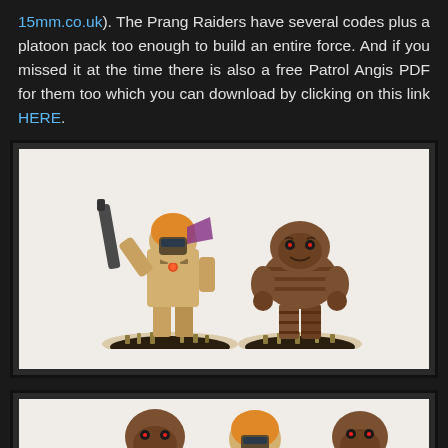15mm.co.uk). The Prang Raiders have several codes plus a platoon pack too enough to build an entire force. And if you missed it at the time there is also a free Patrol Angis PDF for them too which you can download by clicking on this link HERE.
[Figure (photo): Two painted miniature figures (Prang Raiders) on round bases with tufted grass, on a white background. Left figure holds a large weapon and wears orange armor with purple accent; right figure is stocky in brown striped outfit.]
[Figure (photo): Partial view of painted miniature figures at bottom of page, cropped — showing tops of helmeted/hooded figures in brown and orange tones.]